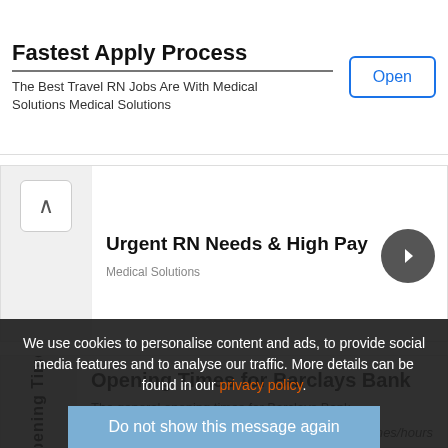Fastest Apply Process
The Best Travel RN Jobs Are With Medical Solutions Medical Solutions
Open
Urgent RN Needs & High Pay
Medical Solutions
Opening Times for Barclays Bank
The general opening times for Barclays Bank
We use cookies to personalise content and ads, to provide social media features and to analyse our traffic. More details can be found in our privacy policy.
Do not show this message again
Day of week    Opening times/hours